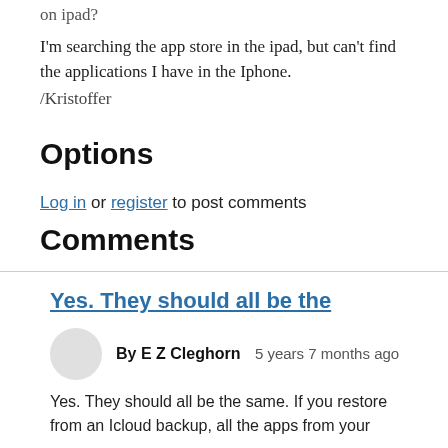on ipad?
I'm searching the app store in the ipad, but can't find the applications I have in the Iphone.
/Kristoffer
Options
Log in or register to post comments
Comments
Yes. They should all be the
By E Z Cleghorn  5 years 7 months ago
Yes. They should all be the same. If you restore from an Icloud backup, all the apps from your